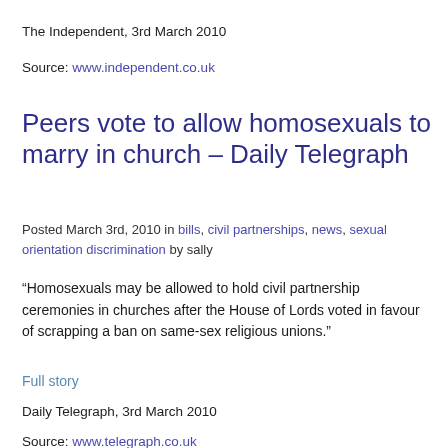The Independent, 3rd March 2010
Source: www.independent.co.uk
Peers vote to allow homosexuals to marry in church – Daily Telegraph
Posted March 3rd, 2010 in bills, civil partnerships, news, sexual orientation discrimination by sally
“Homosexuals may be allowed to hold civil partnership ceremonies in churches after the House of Lords voted in favour of scrapping a ban on same-sex religious unions.”
Full story
Daily Telegraph, 3rd March 2010
Source: www.telegraph.co.uk